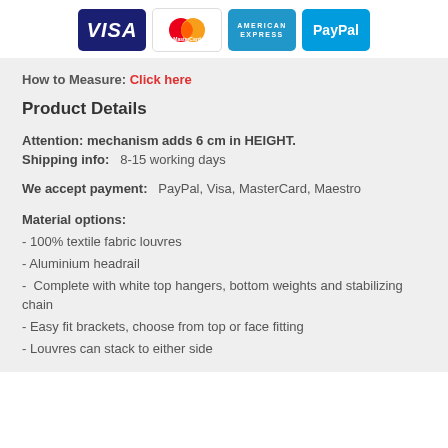[Figure (logo): Payment method logos: Visa, MasterCard, American Express, PayPal]
How to Measure: Click here
Product Details
Attention: mechanism adds 6 cm in HEIGHT.
Shipping info:   8-15 working days
We accept payment:   PayPal, Visa, MasterCard, Maestro
Material options:
- 100% textile fabric louvres
- Aluminium headrail
- Complete with white top hangers, bottom weights and stabilizing chain
- Easy fit brackets, choose from top or face fitting
- Louvres can stack to either side